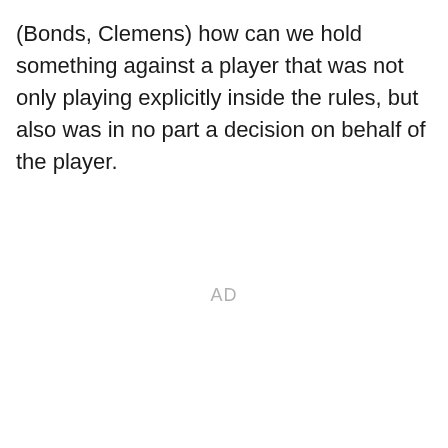(Bonds, Clemens) how can we hold something against a player that was not only playing explicitly inside the rules, but also was in no part a decision on behalf of the player.
AD